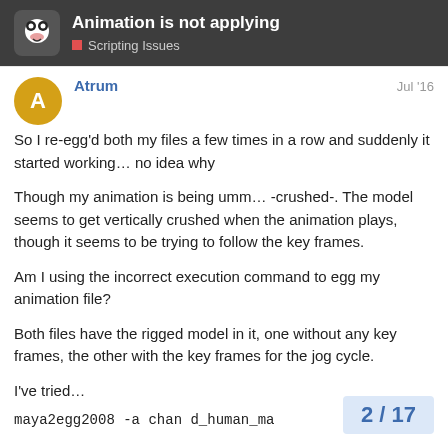Animation is not applying
Scripting Issues
Atrum
Jul '16
So I re-egg'd both my files a few times in a row and suddenly it started working… no idea why
Though my animation is being umm… -crushed-. The model seems to get vertically crushed when the animation plays, though it seems to be trying to follow the key frames.
Am I using the incorrect execution command to egg my animation file?
Both files have the rigged model in it, one without any key frames, the other with the key frames for the jog cycle.
I've tried…
maya2egg2008 -a chan d_human_ma
2 / 17